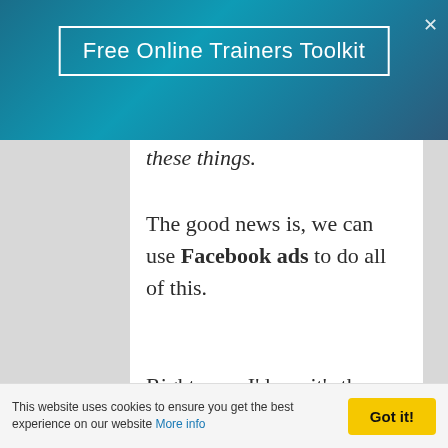Free Online Trainers Toolkit
these things.
The good news is, we can use Facebook ads to do all of this.
Right now, I'd say it's the most effective way of reaching people and moving people through your funnel.
This website uses cookies to ensure you get the best experience on our website More info Got it!